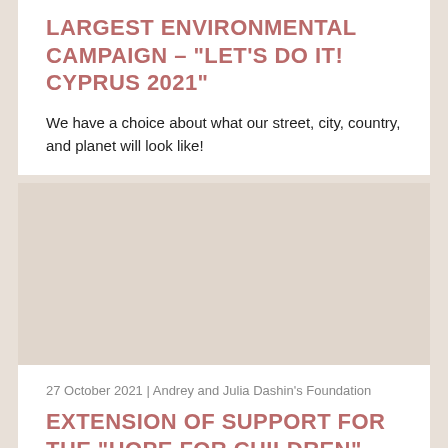LARGEST ENVIRONMENTAL CAMPAIGN – "LET'S DO IT! CYPRUS 2021"
We have a choice about what our street, city, country, and planet will look like!
[Figure (photo): Image placeholder for second article about extension of support for Hope for Children CRC Policy Center shelters]
27 October 2021 | Andrey and Julia Dashin's Foundation
EXTENSION OF SUPPORT FOR THE "HOPE FOR CHILDREN" CRC POLICY CENTER SHELTERS IN NICOSIA AND